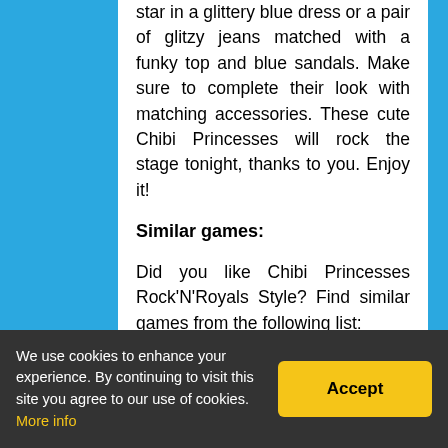star in a glittery blue dress or a pair of glitzy jeans matched with a funky top and blue sandals. Make sure to complete their look with matching accessories. These cute Chibi Princesses will rock the stage tonight, thanks to you. Enjoy it!
Similar games:
Did you like Chibi Princesses Rock'N'Royals Style? Find similar games from the following list:
Barbie Rainy Day Style
Barbie Disney Fashionista
We use cookies to enhance your experience. By continuing to visit this site you agree to our use of cookies. More info